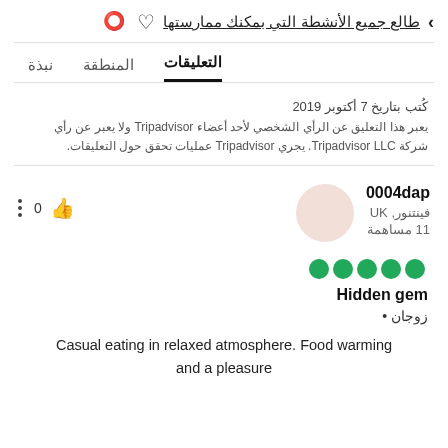طالع جميع الأنشطة التي بمكنك ممارستها
التعليقات  المنطقة  نبذة
كُتب بتاريخ 7 أكتوبر 2019
يعبر هذا التعليق عن الرأي الشخصي لأحد أعضاء Tripadvisor ولا يعبر عن رأي شركة Tripadvisor LLC. يجري Tripadvisor عمليات تحقق حول التعليقات.
0004dap
فينتنور, UK
11 مساهمة
[Figure (other): Five green circle rating dots (5 out of 5)]
Hidden gem
زوجان •
Casual eating in relaxed atmosphere. Food warming and a pleasure